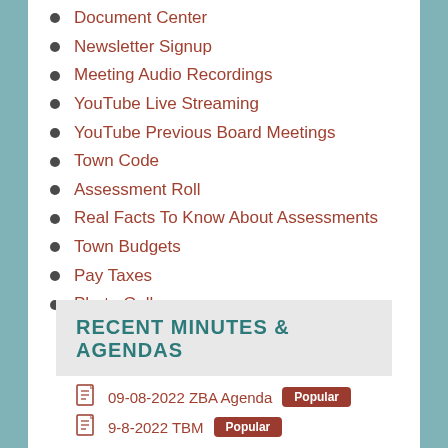Document Center
Newsletter Signup
Meeting Audio Recordings
YouTube Live Streaming
YouTube Previous Board Meetings
Town Code
Assessment Roll
Real Facts To Know About Assessments
Town Budgets
Pay Taxes
Photo Gallery
RECENT MINUTES & AGENDAS
09-08-2022 ZBA Agenda Popular
9-8-2022 TBM Popular